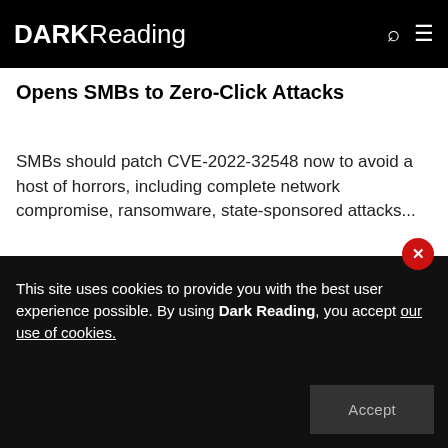DARK Reading
Opens SMBs to Zero-Click Attacks
SMBs should patch CVE-2022-32548 now to avoid a host of horrors, including complete network compromise, ransomware, state-sponsored attacks...
August 03, 2022
This site uses cookies to provide you with the best user experience possible. By using Dark Reading, you accept our use of cookies.